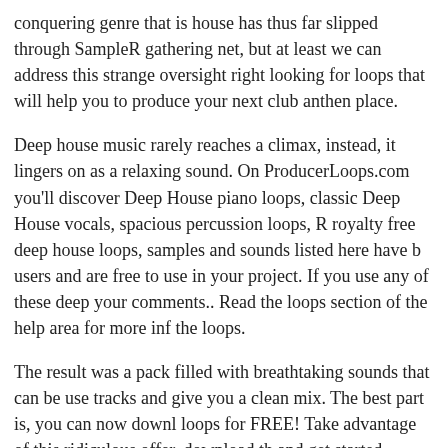conquering genre that is house has thus far slipped through SampleR gathering net, but at least we can address this strange oversight right looking for loops that will help you to produce your next club anthen place.
Deep house music rarely reaches a climax, instead, it lingers on as a relaxing sound. On ProducerLoops.com you'll discover Deep House piano loops, classic Deep House vocals, spacious percussion loops, R royalty free deep house loops, samples and sounds listed here have b users and are free to use in your project. If you use any of these deep your comments.. Read the loops section of the help area for more inf the loops.
The result was a pack filled with breathtaking sounds that can be use tracks and give you a clean mix. The best part is, you can now downl loops for FREE! Take advantage of this ridiculous offer, download th and get started creating your best song yet! The result was a pack fill that can be used to instantly enhance your tracks and give you a clear can now download all 200 samples and loops for FREE! Take advant